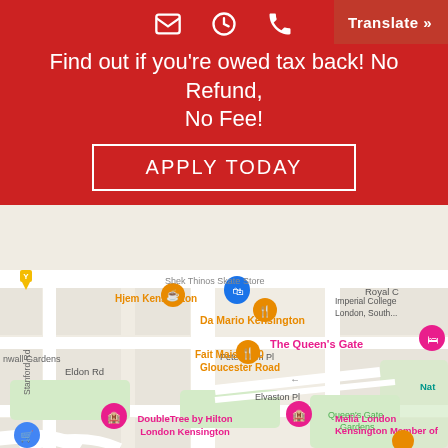[Figure (screenshot): Google Maps screenshot showing Kensington area of London with street map, landmarks including Hjem Kensington, Da Mario Kensington, Fait Maison 50 Gloucester Road, The Queen's Gate, Imperial College London South, Queen's Gate Gardens, Meliá London Kensington Member of, DoubleTree by Hilton London Kensington, Royal C (partial), Nit (partial). Map pins in orange and blue visible. Street names: Stanford Rd, Eldon Rd, Petersham Pl, Elvaston Pl, Cornall Gardens visible.]
Find out if you're owed tax back! No Refund, No Fee!
APPLY TODAY
Translate »